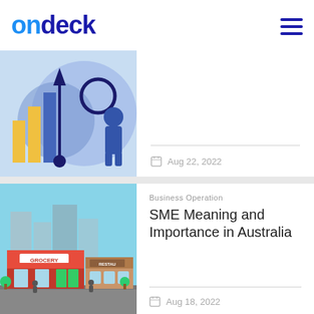ondeck
[Figure (illustration): Illustration of a person with a magnifying glass near bar charts and an upward arrow, purple and blue tones]
Aug 22, 2022
[Figure (illustration): Illustration of a street with a grocery store and restaurant storefronts, light blue sky background]
Business Operation
SME Meaning and Importance in Australia
Aug 18, 2022